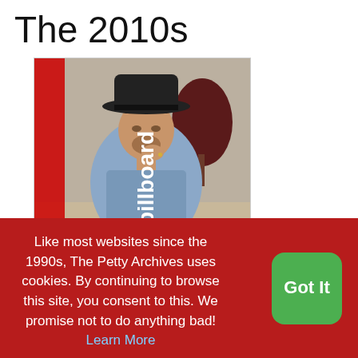The 2010s
[Figure (photo): Billboard magazine cover featuring Tom Petty (1950-2017), shown sitting at a piano wearing a denim jacket and black fedora hat, leaning on his hand. The Billboard logo is visible on the left side, rotated vertically.]
Like most websites since the 1990s, The Petty Archives uses cookies. By continuing to browse this site, you consent to this. We promise not to do anything bad! Learn More